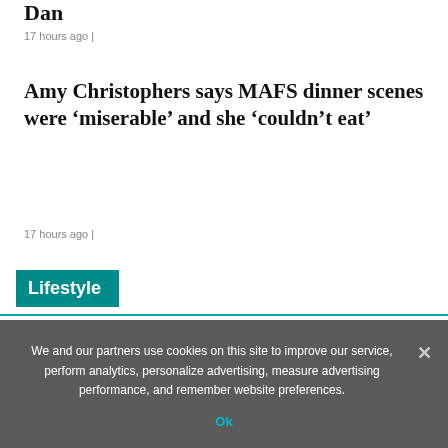Dan
17 hours ago |
Amy Christophers says MAFS dinner scenes were ‘miserable’ and she ‘couldn’t eat’
17 hours ago |
Lifestyle
We and our partners use cookies on this site to improve our service, perform analytics, personalize advertising, measure advertising performance, and remember website preferences.
Ok